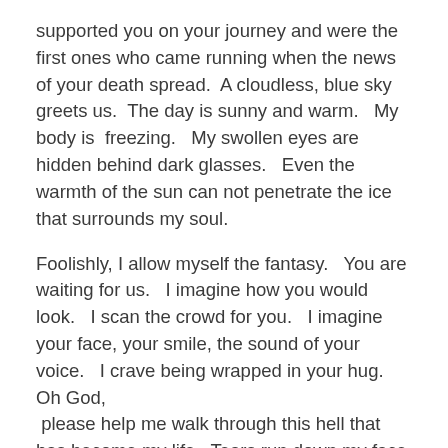supported you on your journey and were the first ones who came running when the news of your death spread.  A cloudless, blue sky greets us.  The day is sunny and warm.   My body is  freezing.   My swollen eyes are hidden behind dark glasses.   Even the warmth of the sun can not penetrate the ice that surrounds my soul.
Foolishly, I allow myself the fantasy.   You are waiting for us.   I imagine how you would look.   I scan the crowd for you.   I imagine your face, your smile, the sound of your voice.   I crave being wrapped in your hug.   Oh God,  please help me walk through this hell that has become my life.  Tears run down my face as the over whelming waves of reality hit me in my gut.   You are not here.
The Boca Raton Police Station is located in the heart of Boca.   We pull into the parking lot.   I feel the grief grabbing my throat.   I am silently being strangled.   I am